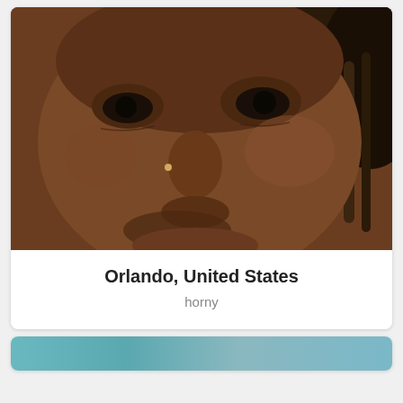[Figure (photo): Close-up portrait photo of a person's face with dreadlocks and a nose piercing]
Orlando, United States
horny
[Figure (photo): Partial view of another profile card at the bottom of the page]